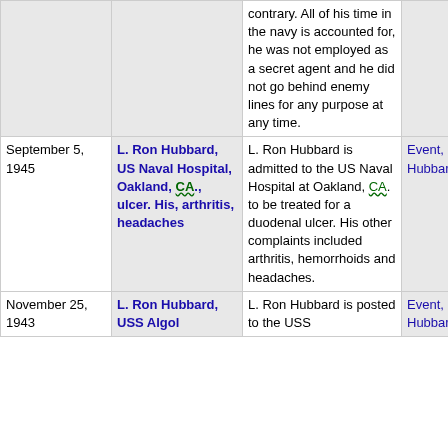|  | Date | Links | Description | Category |
| --- | --- | --- | --- | --- |
|  |  |  | contrary. All of his time in the navy is accounted for, he was not employed as a secret agent and he did not go behind enemy lines for any purpose at any time. |  |
|  | September 5, 1945 | L. Ron Hubbard, US Naval Hospital, Oakland, CA., ulcer. His, arthritis, headaches | L. Ron Hubbard is admitted to the US Naval Hospital at Oakland, CA. to be treated for a duodenal ulcer. His other complaints included arthritis, hemorrhoids and headaches. | Event, L. Ron Hubbard |
|  | November 25, 1943 | L. Ron Hubbard, USS Algol | L. Ron Hubbard is posted to the USS | Event, L. Ron Hubbard |